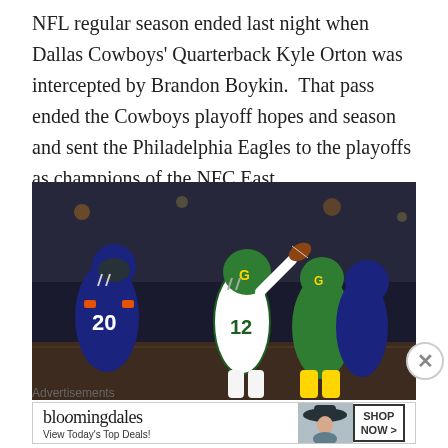NFL regular season ended last night when Dallas Cowboys' Quarterback Kyle Orton was intercepted by Brandon Boykin.  That pass ended the Cowboys playoff hopes and season and sent the Philadelphia Eagles to the playoffs as champions of the NFC East.
[Figure (photo): NFL football game photo showing a Green Bay Packers quarterback wearing #12 preparing to throw a pass while being blocked by teammates and pressured by a Chicago Bears defender wearing #20.]
Advertisements
[Figure (other): Bloomingdale's advertisement banner reading 'bloomingdales View Today's Top Deals!' with a woman in a wide-brim hat and a 'SHOP NOW >' button.]